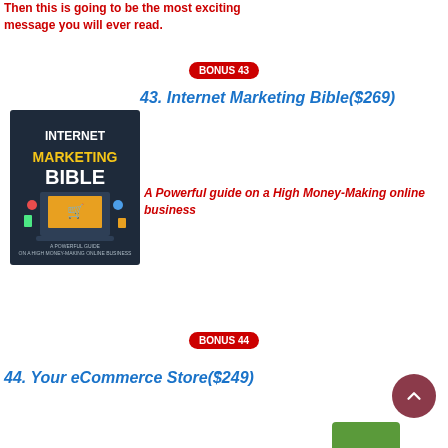Then this is going to be the most exciting message you will ever read.
BONUS 43
43. Internet Marketing Bible($269)
[Figure (photo): Book cover: Internet Marketing Bible - A Powerful Guide on a High Money-Making Online Business]
A Powerful guide on a High Money-Making online business
BONUS 44
44. Your eCommerce Store($249)